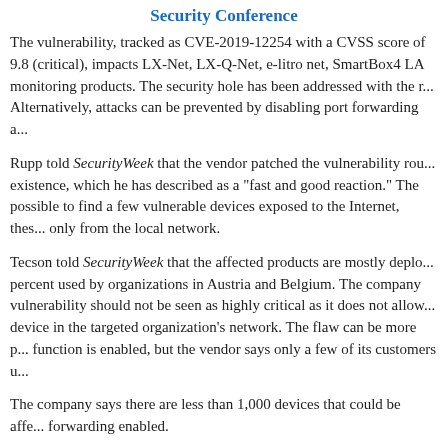Security Conference
The vulnerability, tracked as CVE-2019-12254 with a CVSS score of 9.8 (critical), impacts LX-Net, LX-Q-Net, e-litro net, SmartBox4 LA monitoring products. The security hole has been addressed with the r... Alternatively, attacks can be prevented by disabling port forwarding a...
Rupp told SecurityWeek that the vendor patched the vulnerability rou... existence, which he has described as a "fast and good reaction." The possible to find a few vulnerable devices exposed to the Internet, thes... only from the local network.
Tecson told SecurityWeek that the affected products are mostly deplo... percent used by organizations in Austria and Belgium. The company vulnerability should not be seen as highly critical as it does not allow... device in the targeted organization's network. The flaw can be more p... function is enabled, but the vendor says only a few of its customers u...
The company says there are less than 1,000 devices that could be affe... forwarding enabled.
Tecson claims it's in the process of identifying and notifying impacte...
Related: Many Vulnerabilities Discovered in Moxa Industrial Sw...
Related: Italian Oil Services Company Saipem Hit by Cyberatta...